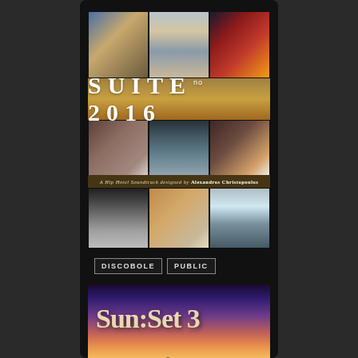[Figure (photo): Music album cover for SUITE no.2016 - A Hip Hotel Soundtrack designed by Alexandros Christopoulos, showing a 3x3 grid of hotel interior and exterior photos]
DISCOBOLE   PUBLIC
[Figure (photo): Music album cover for Sun:Set 3, showing large serif title text over a sunset sky with mountain silhouette]